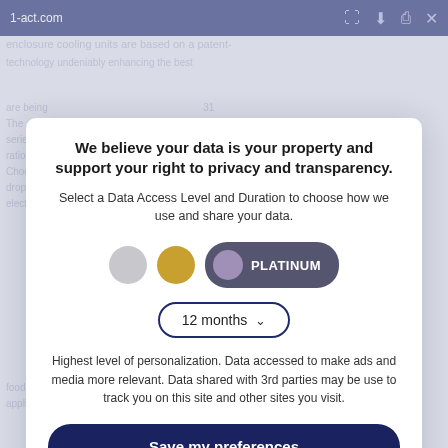1-act.com
We believe your data is your property and support your right to privacy and transparency.
Select a Data Access Level and Duration to choose how we use and share your data.
[Figure (other): Three tier selection circles (gray, gold, purple) with a PLATINUM pill button, and a 12 months dropdown selector]
Highest level of personalization. Data accessed to make ads and media more relevant. Data shared with 3rd parties may be use to track you on this site and other sites you visit.
Save my preferences
Customize
Privacy policy